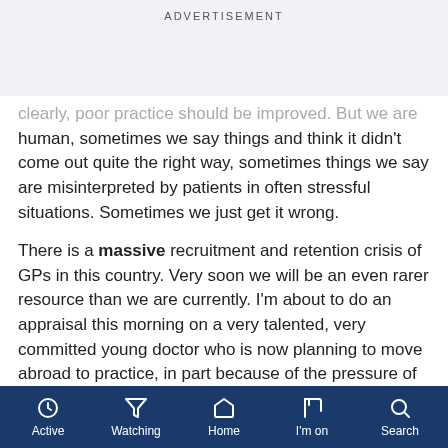ADVERTISEMENT
clearly, poor practice should be improved. But we are human, sometimes we say things and think it didn't come out quite the right way, sometimes things we say are misinterpreted by patients in often stressful situations. Sometimes we just get it wrong.
There is a massive recruitment and retention crisis of GPs in this country. Very soon we will be an even rarer resource than we are currently. I'm about to do an appraisal this morning on a very talented, very committed young doctor who is now planning to move abroad to practice, in part because of the pressure of the job and significantly because of the attitude of the great British public, of which
Active  Watching  Home  I'm on  Search